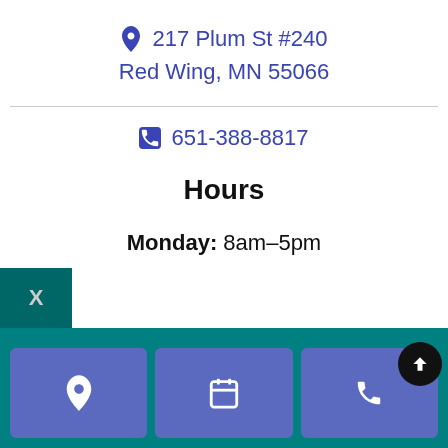📍 217 Plum St #240
Red Wing, MN 55066
📞 651-388-8817
Hours
Monday: 8am–5pm
[Figure (infographic): Teal footer bar with three blue navigation buttons (location pin, calendar, phone icons) and a dark back-to-top button. A dark teal X close box in the upper-left corner.]